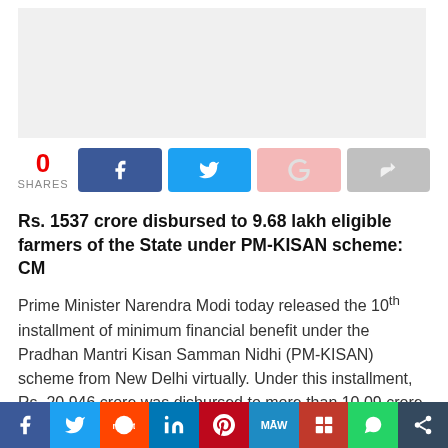[Figure (other): Ad placeholder banner, light grey background]
0 SHARES
Rs. 1537 crore disbursed to 9.68 lakh eligible farmers of the State under PM-KISAN scheme: CM
Prime Minister Narendra Modi today released the 10th installment of minimum financial benefit under the Pradhan Mantri Kisan Samman Nidhi (PM-KISAN) scheme from New Delhi virtually. Under this installment, Rs. 20,946 crore was disbursed to more than 10.09 crore farmer families of the country.